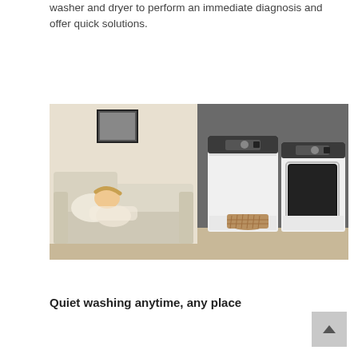washer and dryer to perform an immediate diagnosis and offer quick solutions.
[Figure (photo): Split image: left side shows a child sleeping on a cream-colored sofa; right side shows a Samsung top-load washer and dryer pair in white with dark lids/controls, with a wicker basket on a wood floor, against a dark gray wall.]
Quiet washing anytime, any place